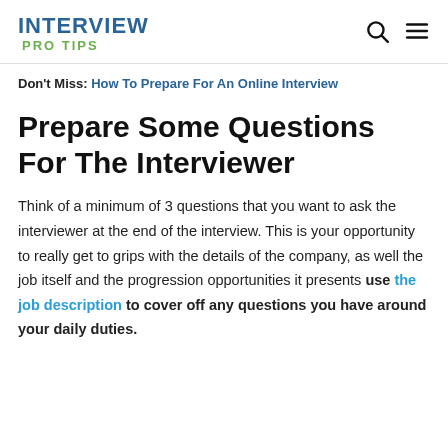INTERVIEW PRO TIPS
Don't Miss: How To Prepare For An Online Interview
Prepare Some Questions For The Interviewer
Think of a minimum of 3 questions that you want to ask the interviewer at the end of the interview. This is your opportunity to really get to grips with the details of the company, as well the job itself and the progression opportunities it presents use the job description to cover off any questions you have around your daily duties.